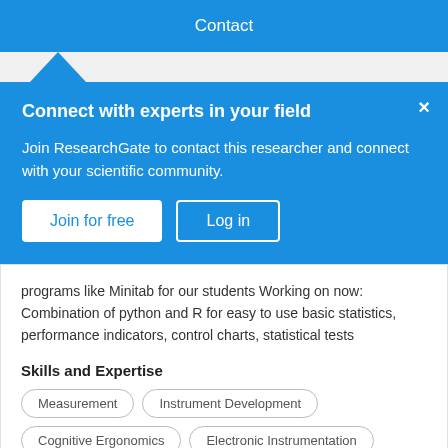Contact
Connect with experts in your field
Join ResearchGate to contact this researcher and connect with your scientific community.
programs like Minitab for our students Working on now: Combination of python and R for easy to use basic statistics, performance indicators, control charts, statistical tests
Skills and Expertise
Measurement
Instrument Development
Cognitive Ergonomics
Electronic Instrumentation
Publications